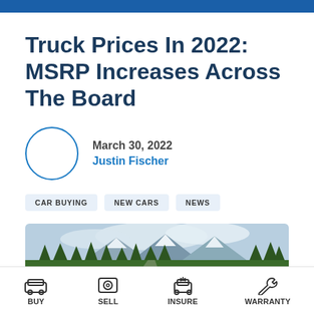Truck Prices In 2022: MSRP Increases Across The Board
March 30, 2022
Justin Fischer
CAR BUYING
NEW CARS
NEWS
[Figure (photo): Mountain landscape with green forest and snow-capped peaks under cloudy sky]
BUY  SELL  INSURE  WARRANTY